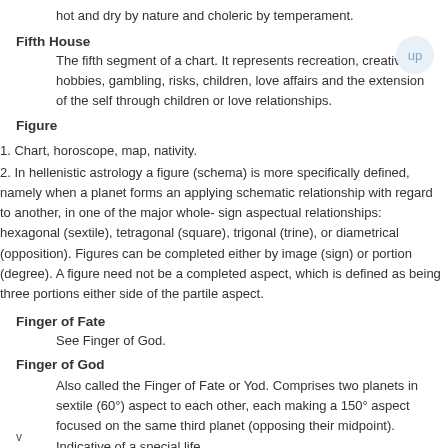hot and dry by nature and choleric by temperament.
Fifth House
The fifth segment of a chart. It represents recreation, creativity, hobbies, gambling, risks, children, love affairs and the extension of the self through children or love relationships.
Figure
1. Chart, horoscope, map, nativity.
2. In hellenistic astrology a figure (schema) is more specifically defined, namely when a planet forms an applying schematic relationship with regard to another, in one of the major whole-sign aspectual relationships: hexagonal (sextile), tetragonal (square), trigonal (trine), or diametrical (opposition). Figures can be completed either by image (sign) or portion (degree). A figure need not be a completed aspect, which is defined as being three portions either side of the partile aspect.
Finger of Fate
See Finger of God.
Finger of God
Also called the Finger of Fate or Yod. Comprises two planets in sextile (60°) aspect to each other, each making a 150° aspect focused on the same third planet (opposing their midpoint). Indicative of a special life
v